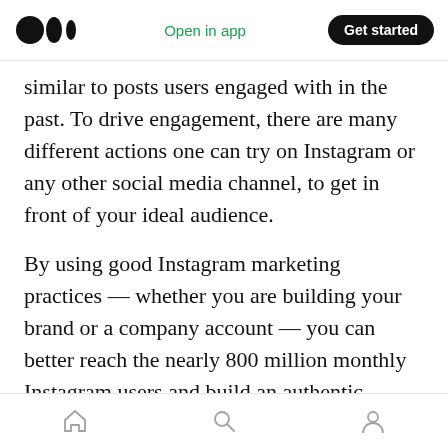Medium logo | Open in app | Get started
similar to posts users engaged with in the past. To drive engagement, there are many different actions one can try on Instagram or any other social media channel, to get in front of your ideal audience.
By using good Instagram marketing practices — whether you are building your brand or a company account — you can better reach the nearly 800 million monthly Instagram users and build an authentic audience.
1. Make your account public.
Home | Search | Profile